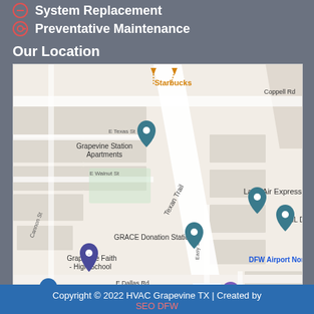System Replacement
Preventative Maintenance
Our Location
[Figure (map): Google Maps screenshot showing Grapevine, TX area with landmarks including Starbucks, Grapevine Station Apartments, Land Air Express, HL Distribution, GRACE Donation Station, Grapevine Faith High School, Chevron, DFW Airport North, E Dallas Rd, Coppell Rd, Texan Trail road labels.]
Copyright © 2022 HVAC Grapevine TX | Created by SEO DFW